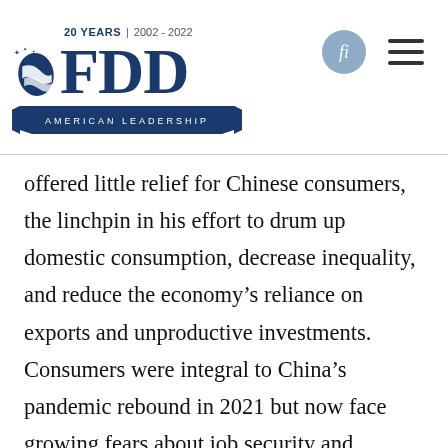[Figure (logo): FDD (Foundation for Defense of Democracies) logo with '20 YEARS | 2002-2022' text, blue FDD letters, leaf/flag emblem, and 'AMERICAN LEADERSHIP' banner. Right side shows a circular icon and hamburger menu.]
offered little relief for Chinese consumers, the linchpin in his effort to drum up domestic consumption, decrease inequality, and reduce the economy's reliance on exports and unproductive investments. Consumers were integral to China's pandemic rebound in 2021 but now face growing fears about job security and sustained income losses from never-ending lockdowns.